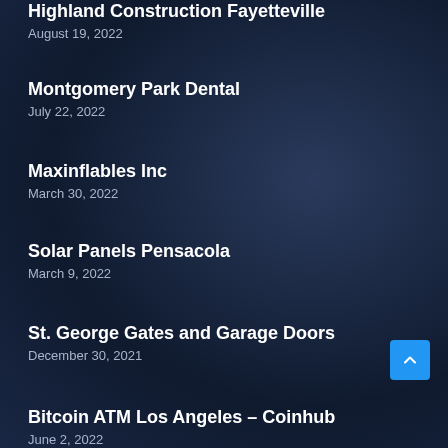Highland Construction Fayetteville
August 19, 2022
Montgomery Park Dental
July 22, 2022
Maxinflables Inc
March 30, 2022
Solar Panels Pensacola
March 9, 2022
St. George Gates and Garage Doors
December 30, 2021
Bitcoin ATM Los Angeles – Coinhub
June 2, 2022